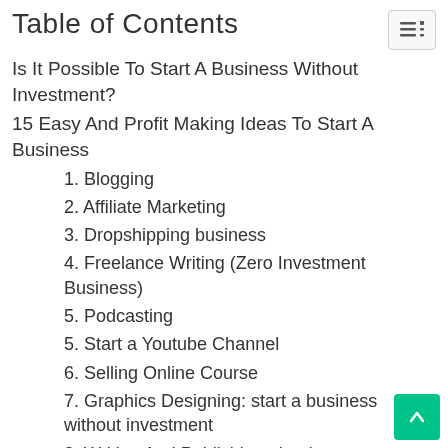Table of Contents
Is It Possible To Start A Business Without Investment?
15 Easy And Profit Making Ideas To Start A Business
1. Blogging
2. Affiliate Marketing
3. Dropshipping business
4. Freelance Writing (Zero Investment Business)
5. Podcasting
5. Start a Youtube Channel
6. Selling Online Course
7. Graphics Designing: start a business without investment
8. Writing And Publishing ebook
9. Virtual Assistant Service
10. SEO Consultant